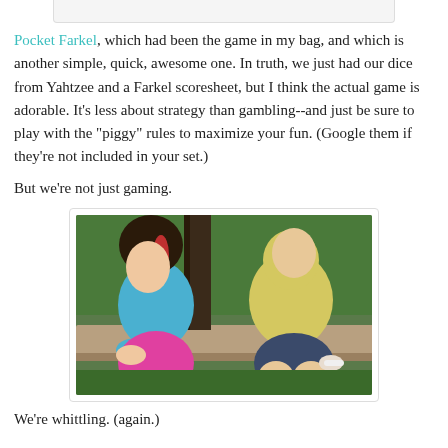[Figure (photo): Partial view of a rounded rectangle image placeholder at the top of the page, showing a white/light gray box with border.]
Pocket Farkel, which had been the game in my bag, and which is another simple, quick, awesome one. In truth, we just had our dice from Yahtzee and a Farkel scoresheet, but I think the actual game is adorable. It's less about strategy than gambling--and just be sure to play with the "piggy" rules to maximize your fun. (Google them if they're not included in your set.)
But we're not just gaming.
[Figure (photo): Photo of two children sitting outside on a wooden bench. A girl wearing a blue shirt and bright pink pants holds something in her hands. A boy in a yellow shirt and dark shorts sits next to her, also holding something. Green foliage visible in the background.]
We're whittling. (again.)